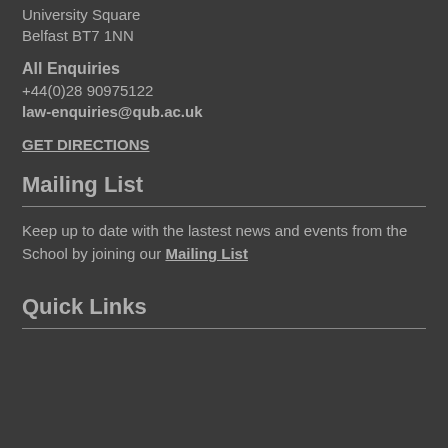University Square
Belfast BT7 1NN
All Enquiries
+44(0)28 90975122
law-enquiries@qub.ac.uk
GET DIRECTIONS
Mailing List
Keep up to date with the lastest news and events from the School by joining our Mailing List
Quick Links